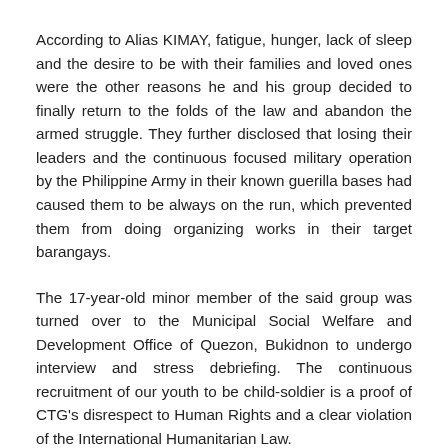According to Alias KIMAY, fatigue, hunger, lack of sleep and the desire to be with their families and loved ones were the other reasons he and his group decided to finally return to the folds of the law and abandon the armed struggle. They further disclosed that losing their leaders and the continuous focused military operation by the Philippine Army in their known guerilla bases had caused them to be always on the run, which prevented them from doing organizing works in their target barangays.
The 17-year-old minor member of the said group was turned over to the Municipal Social Welfare and Development Office of Quezon, Bukidnon to undergo interview and stress debriefing. The continuous recruitment of our youth to be child-soldier is a proof of CTG's disrespect to Human Rights and a clear violation of the International Humanitarian Law.